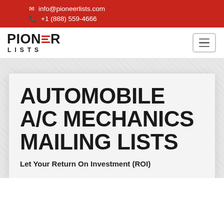info@pioneerlists.com  +1 (888) 559-4666
[Figure (logo): Pioneer Lists logo — bold sans-serif text with red accent lines replacing the E in PIONEER, and LISTS in spaced letters below]
AUTOMOBILE A/C MECHANICS MAILING LISTS
Let Your Return On Investment (ROI)